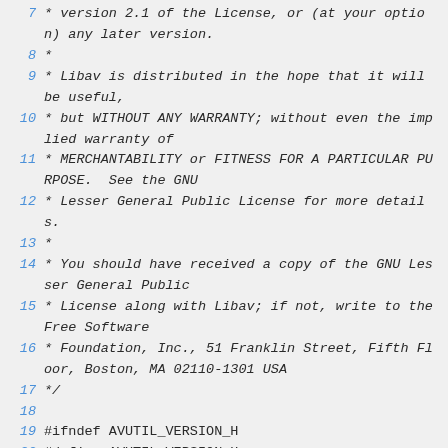7  * version 2.1 of the License, or (at your option) any later version.
8  *
9  * Libav is distributed in the hope that it will be useful,
10  * but WITHOUT ANY WARRANTY; without even the implied warranty of
11  * MERCHANTABILITY or FITNESS FOR A PARTICULAR PURPOSE.  See the GNU
12  * Lesser General Public License for more details.
13  *
14  * You should have received a copy of the GNU Lesser General Public
15  * License along with Libav; if not, write to the Free Software
16  * Foundation, Inc., 51 Franklin Street, Fifth Floor, Boston, MA 02110-1301 USA
17  */
18
19 #ifndef AVUTIL_VERSION_H
20 #define AVUTIL_VERSION_H
21
22 #include "macros.h"
23